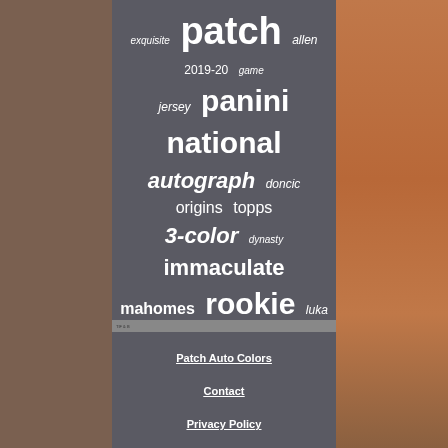[Figure (infographic): Tag cloud with sports card collecting keywords on dark gray background. Words include: justin, dual, colors, flawless, color, 2018-19, auto, exquisite, patch, allen, 2019-20, game, jersey, panini, national, autograph, doncic, origins, topps, 3-color, dynasty, immaculate, mahomes, rookie, luka, gold, card, 4-color, treasures]
Patch Auto Colors
Contact
Privacy Policy